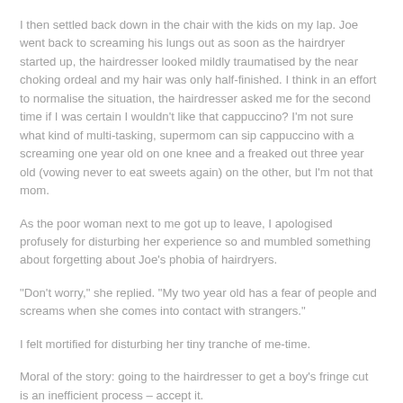I then settled back down in the chair with the kids on my lap. Joe went back to screaming his lungs out as soon as the hairdryer started up, the hairdresser looked mildly traumatised by the near choking ordeal and my hair was only half-finished. I think in an effort to normalise the situation, the hairdresser asked me for the second time if I was certain I wouldn't like that cappuccino? I'm not sure what kind of multi-tasking, supermom can sip cappuccino with a screaming one year old on one knee and a freaked out three year old (vowing never to eat sweets again) on the other, but I'm not that mom.
As the poor woman next to me got up to leave, I apologised profusely for disturbing her experience so and mumbled something about forgetting about Joe's phobia of hairdryers.
“Don't worry,” she replied. “My two year old has a fear of people and screams when she comes into contact with strangers.”
I felt mortified for disturbing her tiny tranche of me-time.
Moral of the story: going to the hairdresser to get a boy's fringe cut is an inefficient process – accept it.